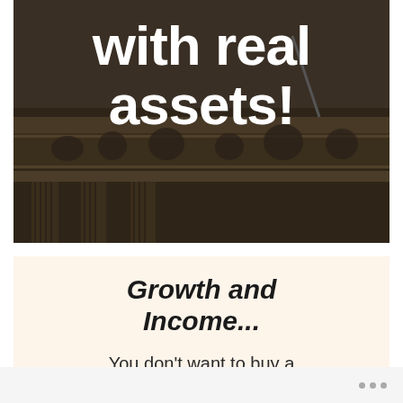[Figure (photo): Dark photograph of a classical building facade with columns and sculpted frieze figures, overlaid with large white bold text reading 'with real assets!']
with real assets!
Growth and Income...
You don't want to buy a business...